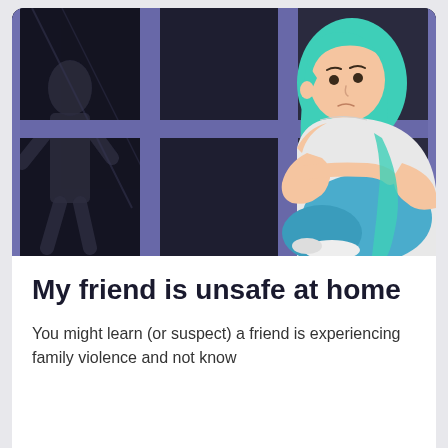[Figure (illustration): Illustration of a young woman with teal/turquoise hair, wearing a white off-shoulder top and blue pants, sitting cross-legged on a dark floor, hugging herself and looking worried. She is framed by a window with purple/blue wooden frames dividing the image into panes. On the left side of the window, a shadowy silhouette of a threatening figure is visible against a dark background.]
My friend is unsafe at home
You might learn (or suspect) a friend is experiencing family violence and not know